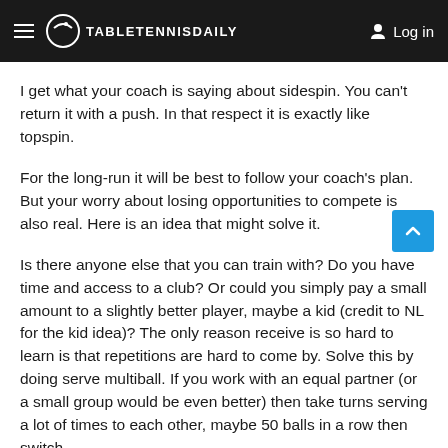TABLETENNISDAILY  Log in
I get what your coach is saying about sidespin. You can't return it with a push. In that respect it is exactly like topspin.
For the long-run it will be best to follow your coach's plan. But your worry about losing opportunities to compete is also real. Here is an idea that might solve it.
Is there anyone else that you can train with? Do you have time and access to a club? Or could you simply pay a small amount to a slightly better player, maybe a kid (credit to NL for the kid idea)? The only reason receive is so hard to learn is that repetitions are hard to come by. Solve this by doing serve multiball. If you work with an equal partner (or a small group would be even better) then take turns serving a lot of times to each other, maybe 50 balls in a row then switch.